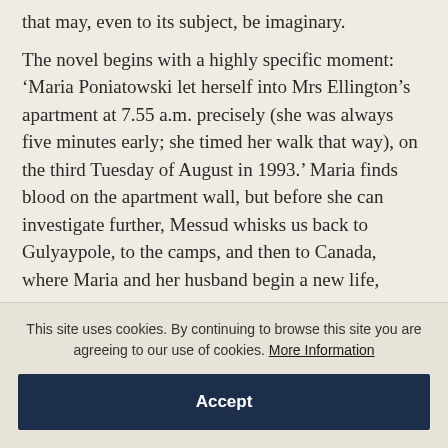that may, even to its subject, be imaginary.
The novel begins with a highly specific moment: ‘Maria Poniatowski let herself into Mrs Ellington’s apartment at 7.55 a.m. precisely (she was always five minutes early; she timed her walk that way), on the third Tuesday of August in 1993.’ Maria finds blood on the apartment wall, but before she can investigate further, Messud whisks us back to Gulyaypole, to the camps, and then to Canada, where Maria and her husband begin a new life,
This site uses cookies. By continuing to browse this site you are agreeing to our use of cookies. More Information
Accept